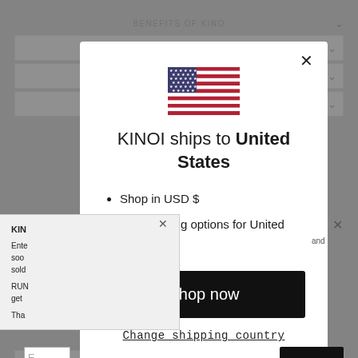[Figure (screenshot): A modal dialog overlay on a website. The modal shows a US flag, text 'KINOI ships to United States', bullet points about USD shopping and shipping options, a 'Shop now' black button, and a 'Change shipping country' link. Behind the modal is a partially visible webpage with a notification panel.]
KINOI ships to United States
Shop in USD $
Get shipping options for United States
Shop now
Change shipping country